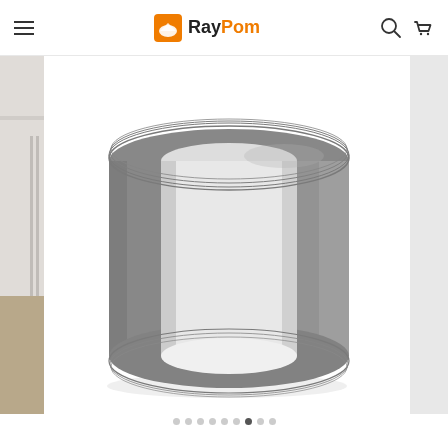RayPom navigation header with hamburger menu, logo, search and cart icons
[Figure (photo): Product photo of a roll of gray duct tape / adhesive tape seen from a three-quarter perspective showing the cylindrical gray body and white inner core, displayed on a white background. Left edge shows a partially visible secondary thumbnail image of an interior room.]
[Figure (infographic): Dot-pagination indicator row showing 9 dots, with the 7th dot highlighted/active in dark gray, the rest light gray.]